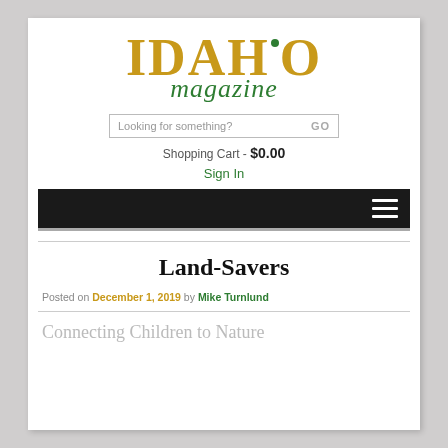IDAHO magazine
Looking for something? GO
Shopping Cart - $0.00
Sign In
[Figure (other): Dark navigation bar with hamburger menu icon (three horizontal lines) on the right]
Land-Savers
Posted on December 1, 2019 by Mike Turnlund
Connecting Children to Nature